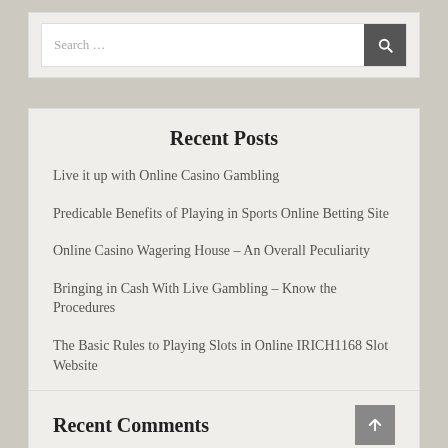Search …
Recent Posts
Live it up with Online Casino Gambling
Predicable Benefits of Playing in Sports Online Betting Site
Online Casino Wagering House – An Overall Peculiarity
Bringing in Cash With Live Gambling – Know the Procedures
The Basic Rules to Playing Slots in Online IRICH1168 Slot Website
Recent Comments